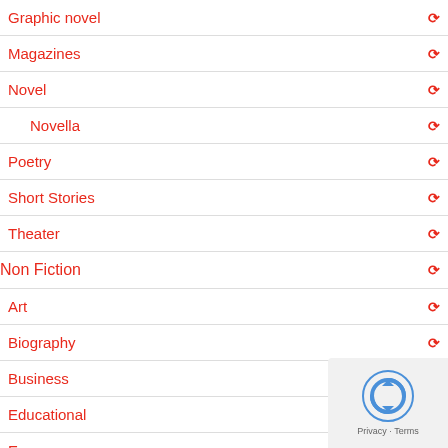Graphic novel
Magazines
Novel
Novella
Poetry
Short Stories
Theater
Non Fiction
Art
Biography
Business
Educational
Essays
Food